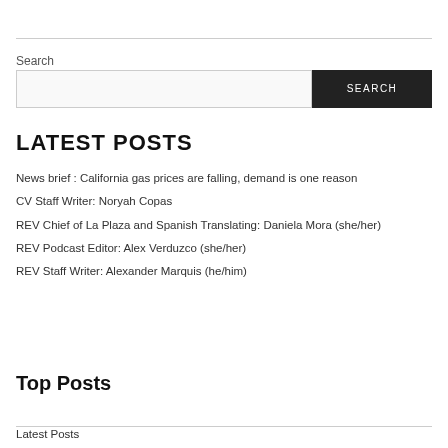Search
LATEST POSTS
News brief : California gas prices are falling, demand is one reason
CV Staff Writer: Noryah Copas
REV Chief of La Plaza and Spanish Translating: Daniela Mora (she/her)
REV Podcast Editor: Alex Verduzco (she/her)
REV Staff Writer: Alexander Marquis (he/him)
Top Posts
Latest Posts